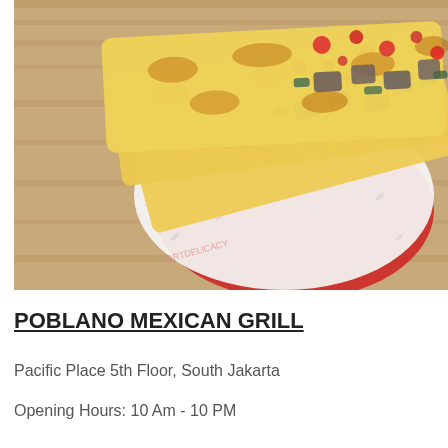[Figure (photo): Close-up photo of quesadillas with melted cheese, meat chunks, and diced tomatoes/jalapeños served in a red basket lined with branded white paper, placed on a wooden table surface.]
POBLANO MEXICAN GRILL
Pacific Place 5th Floor, South Jakarta
Opening Hours: 10 Am - 10 PM